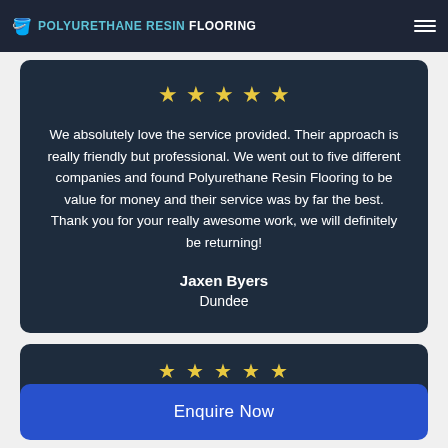POLYURETHANE RESIN FLOORING
[Figure (other): Five gold star rating icons]
We absolutely love the service provided. Their approach is really friendly but professional. We went out to five different companies and found Polyurethane Resin Flooring to be value for money and their service was by far the best. Thank you for your really awesome work, we will definitely be returning!
Jaxen Byers
Dundee
[Figure (other): Five gold star rating icons for second review (partially visible)]
Enquire Now